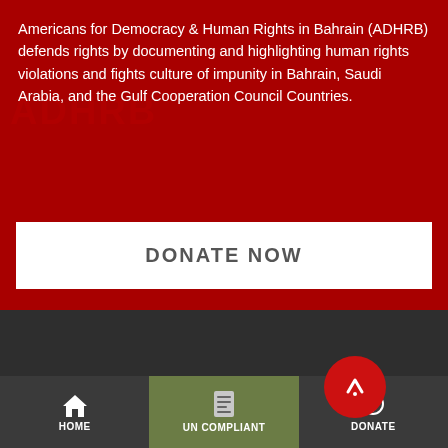Americans for Democracy & Human Rights in Bahrain (ADHRB) defends rights by documenting and highlighting human rights violations and fights culture of impunity in Bahrain, Saudi Arabia, and the Gulf Cooperation Council Countries.
DONATE NOW
ABOUT US
Americans for Democracy & Human Rights in Bah...
[Figure (screenshot): Mobile app navigation bar with HOME, UN COMPLIANT (active/green), and DONATE tabs, plus a red floating action button with a pointer icon]